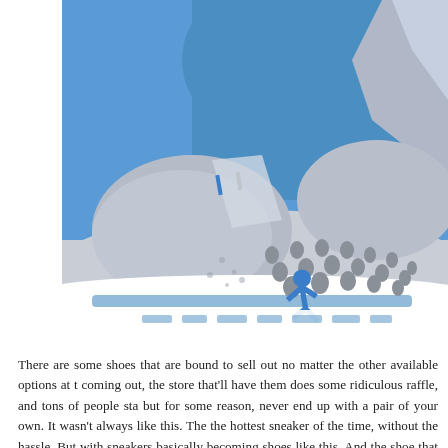[Figure (photo): Close-up macro photograph of a blue and grey Air Jordan sneaker (Jordan 3 or similar), showing the midsole with elephant print texture, circular perforations, Jumpman logo in blue, lace area, and blue upper. The background is bright blue matching the shoe color.]
There are some shoes that are bound to sell out no matter the other available options at t coming out, the store that'll have them does some ridiculous raffle, and tons of people sta but for some reason, never end up with a pair of your own. It wasn't always like this. The the hottest sneaker of the time, without the hassle. But with sneakers basically becoming shoes like this. And the shoe that usually gives people the m